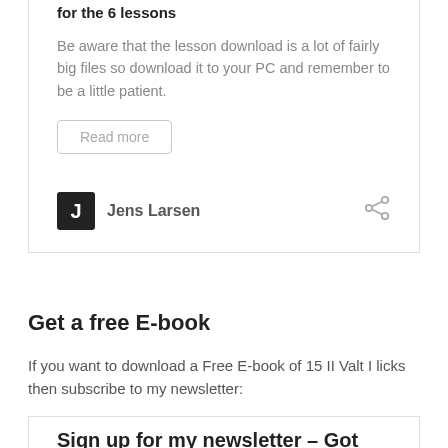for the 6 lessons
Be aware that the lesson download is a lot of fairly big files so download it to your PC and remember to be a little patient.
Read more
Jens Larsen
Get a free E-book
If you want to download a Free E-book of 15 II Valt I licks then subscribe to my newsletter:
Sign up for my newsletter – Got